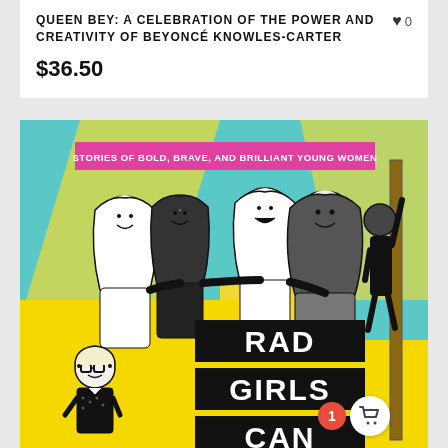QUEEN BEY: A CELEBRATION OF THE POWER AND CREATIVITY OF BEYONCÉ KNOWLES-CARTER
$36.50
[Figure (illustration): Book cover for 'Rad Girls Can: Stories of Bold, Brave, and Brilliant Young Women'. Yellow and teal illustrated cover showing four young women wearing hijabs smiling together, a girl climbing, and a girl with glasses and a blazer. Title text in bold black and white lettering on black rectangles.]